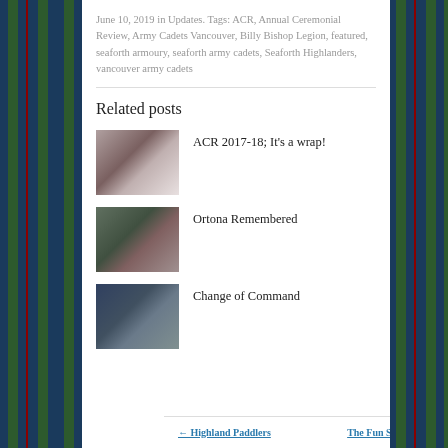June 10, 2019 in Updates. Tags: ACR, Annual Ceremonial Review, Army Cadets Vancouver, Billy Bishop Legion, featured, seaforth armoury, seaforth army cadets, Seaforth Highlanders, vancouver army cadets
Related posts
[Figure (photo): Thumbnail photo of cadets in kilts at ACR 2017-18]
ACR 2017-18; It's a wrap!
[Figure (photo): Thumbnail photo for Ortona Remembered post]
Ortona Remembered
[Figure (photo): Thumbnail photo for Change of Command post]
Change of Command
← Highland Paddlers     The Fun Starts Sept 10 →